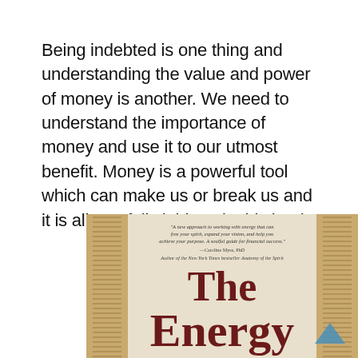Being indebted is one thing and understanding the value and power of money is another. We need to understand the importance of money and use it to our utmost benefit. Money is a powerful tool which can make us or break us and it is all carefully laid out in this book.
[Figure (photo): Book cover of 'The Energy of...' with a blurb quote from Caroline Myss, PhD, Author of the New York Times bestseller Anatomy of the Spirit. The cover has a decorative spine pattern on the left and right sides.]